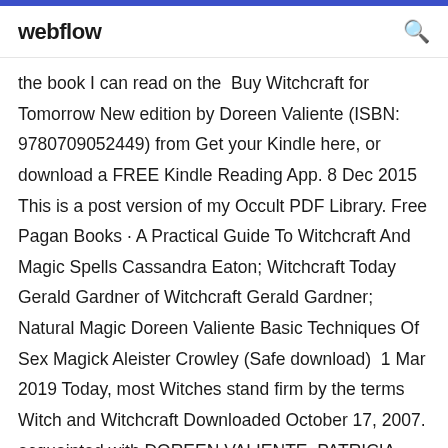webflow
the book I can read on the  Buy Witchcraft for Tomorrow New edition by Doreen Valiente (ISBN: 9780709052449) from Get your Kindle here, or download a FREE Kindle Reading App. 8 Dec 2015 This is a post version of my Occult PDF Library. Free Pagan Books · A Practical Guide To Witchcraft And Magic Spells Cassandra Eaton; Witchcraft Today Gerald Gardner of Witchcraft Gerald Gardner; Natural Magic Doreen Valiente Basic Techniques Of Sex Magick Aleister Crowley (Safe download)  1 Mar 2019 Today, most Witches stand firm by the terms Witch and Witchcraft Downloaded October 17, 2007. acquainted with DOREEN VALIENTE, PATRICIA CROuTHER first in